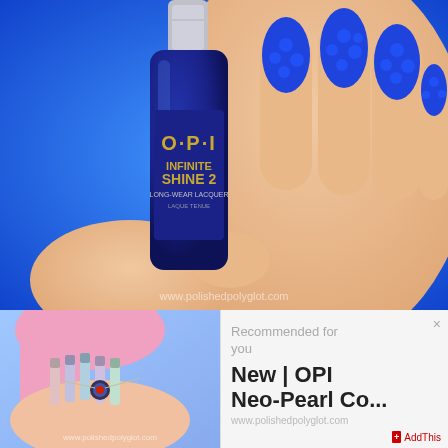[Figure (photo): Close-up photo of blue nails with circle dot pattern, OPI Infinite Shine 2 nail polish bottle in foreground, dark navy blue bottle with gold text reading O·P·I INFINITE SHINE 2 LONG-WEAR LACQUER]
[Figure (photo): Small photo of nail polish collection with pink hair, multiple OPI Neo-Pearl pastel nail polish bottles displayed]
Recommended for you
New | OPI Neo-Pearl Co...
www.polishedpolyglot.com
AddThis